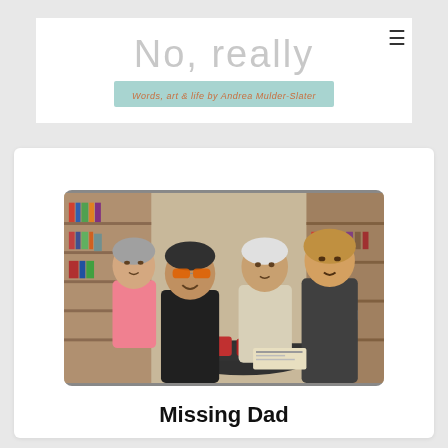No, really
Words, art & life by Andrea Mulder-Slater
[Figure (photo): Four people sitting around a dark table in a bookstore cafe, smiling at the camera. Left to right: an older woman in a pink top, a man with orange-tinted sunglasses in a black t-shirt, an older man in a light-colored shirt, and a woman with short hair in a dark top. Bookshelves and merchandise visible in background.]
Missing Dad